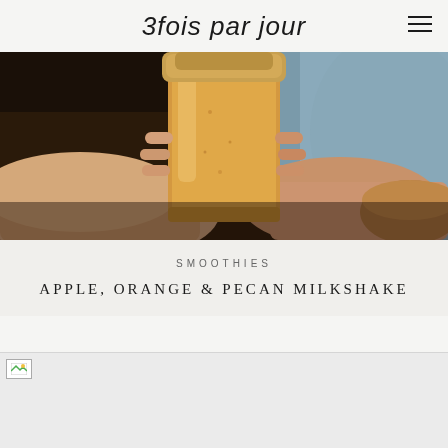3fois par jour
[Figure (photo): Close-up photo of hands holding a cylindrical glass jar filled with an orange smoothie, with a wooden bowl in the background on a light blue textile surface.]
SMOOTHIES
APPLE, ORANGE & PECAN MILKSHAKE
[Figure (photo): Second article image, currently shown as broken/loading placeholder.]